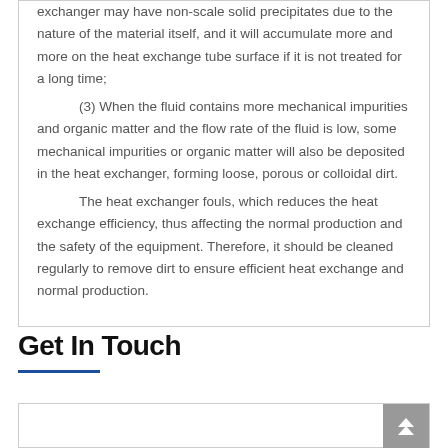exchanger may have non-scale solid precipitates due to the nature of the material itself, and it will accumulate more and more on the heat exchange tube surface if it is not treated for a long time; (3) When the fluid contains more mechanical impurities and organic matter and the flow rate of the fluid is low, some mechanical impurities or organic matter will also be deposited in the heat exchanger, forming loose, porous or colloidal dirt. The heat exchanger fouls, which reduces the heat exchange efficiency, thus affecting the normal production and the safety of the equipment. Therefore, it should be cleaned regularly to remove dirt to ensure efficient heat exchange and normal production.
Get In Touch